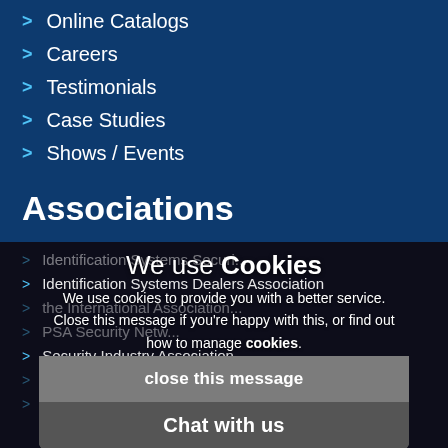> Online Catalogs
> Careers
> Testimonials
> Case Studies
> Shows / Events
Associations
> Identification Systems Security...
> Identification Systems Dealers Association
> (blurred text)
> PSA Security Netw...
> Security Industry Association
> BindRite Dea...
> National Syst...
We use Cookies
We use cookies to provide you with a better service. Close this message if you're happy with this, or find out how to manage cookies.
close this message
Chat with us